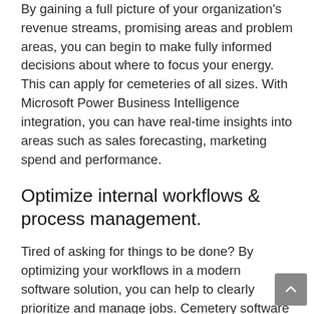By gaining a full picture of your organization's revenue streams, promising areas and problem areas, you can begin to make fully informed decisions about where to focus your energy. This can apply for cemeteries of all sizes. With Microsoft Power Business Intelligence integration, you can have real-time insights into areas such as sales forecasting, marketing spend and performance.
Optimize internal workflows & process management.
Tired of asking for things to be done? By optimizing your workflows in a modern software solution, you can help to clearly prioritize and manage jobs. Cemetery software like byondpro allows you to customize workflows to suit your